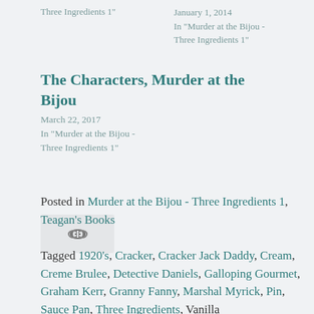Three Ingredients 1"
January 1, 2014
In "Murder at the Bijou - Three Ingredients 1"
The Characters, Murder at the Bijou
March 22, 2017
In "Murder at the Bijou - Three Ingredients 1"
[Figure (other): Link/chain icon button on a light gray background rectangle]
Posted in Murder at the Bijou - Three Ingredients 1, Teagan's Books
Tagged 1920's, Cracker, Cracker Jack Daddy, Cream, Creme Brulee, Detective Daniels, Galloping Gourmet, Graham Kerr, Granny Fanny, Marshal Myrick, Pin, Sauce Pan, Three Ingredients, Vanilla